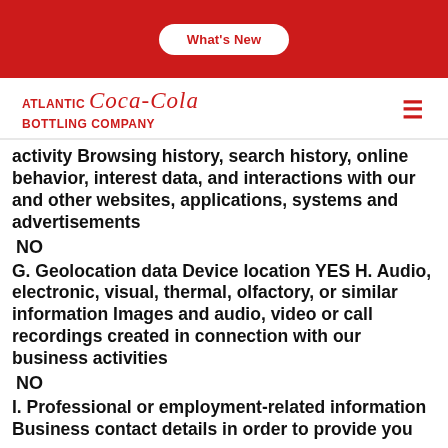What's New
[Figure (logo): Atlantic Coca-Cola Bottling Company logo in red]
activity Browsing history, search history, online behavior, interest data, and interactions with our and other websites, applications, systems and advertisements
NO
G. Geolocation data Device location YES H. Audio, electronic, visual, thermal, olfactory, or similar information Images and audio, video or call recordings created in connection with our business activities
NO
I. Professional or employment-related information Business contact details in order to provide you